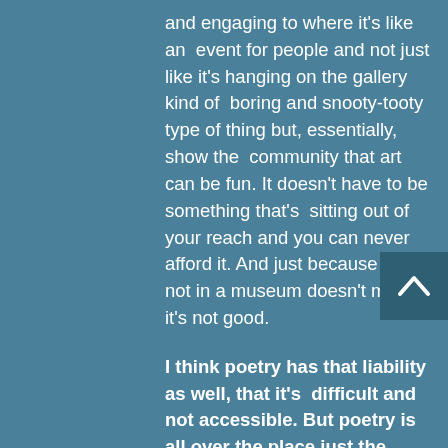and engaging to where it's like an event for people and not just like it's hanging on the gallery kind of boring and snooty-tooty type of thing but, essentially, show the community that art can be fun. It doesn't have to be something that's sitting out of your reach and you can never afford it. And just because it's not in a museum doesn't mean it's not good.
I think poetry has that liability as well, that it's difficult and not accessible. But poetry is all over the place just the way art is.
Thank you so much for all of the work that you do in the community. We're really grateful to learn more about it, and I hope you'll see some more